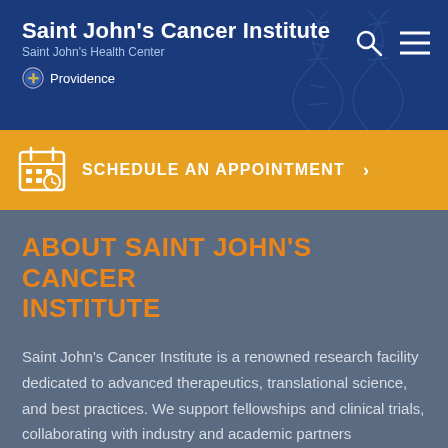Saint John's Cancer Institute
Saint John's Health Center
Providence
SCHEDULE AN APPOINTMENT >
ABOUT SAINT JOHN'S CANCER INSTITUTE
Saint John's Cancer Institute is a renowned research facility dedicated to advanced therapeutics, translational science, and best practices. We support fellowships and clinical trials, collaborating with industry and academic partners worldwide.